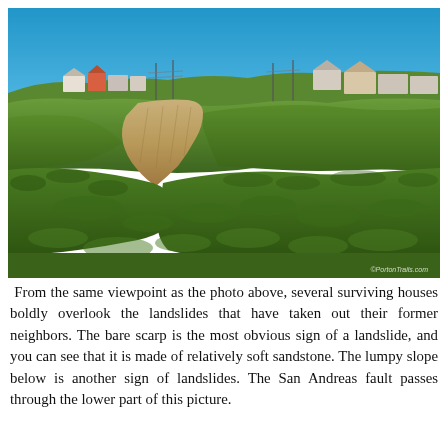[Figure (photo): Photograph of a coastal hillside with exposed sandy-yellow landslide scarp in the center, green shrubby vegetation covering the slopes, and houses visible along the top of the ridge under a clear blue sky. A watermark reading '©PortonTrails.com' appears at the bottom right.]
From the same viewpoint as the photo above, several surviving houses boldly overlook the landslides that have taken out their former neighbors. The bare scarp is the most obvious sign of a landslide, and you can see that it is made of relatively soft sandstone. The lumpy slope below is another sign of landslides. The San Andreas fault passes through the lower part of this picture.